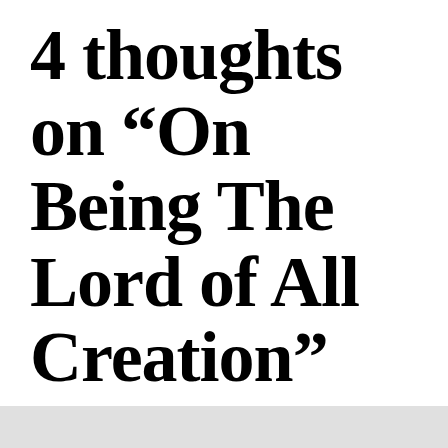4 thoughts on “On Being The Lord of All Creation”
Privacy & Cookies: This site uses cookies. By continuing to use this website, you agree to their use.
To find out more, including how to control cookies, see here: Cookie Policy